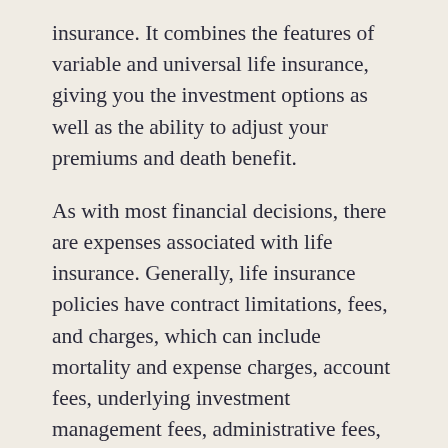insurance. It combines the features of variable and universal life insurance, giving you the investment options as well as the ability to adjust your premiums and death benefit.

As with most financial decisions, there are expenses associated with life insurance. Generally, life insurance policies have contract limitations, fees, and charges, which can include mortality and expense charges, account fees, underlying investment management fees, administrative fees, and charges for optional benefits. Most policies have surrender charges that are assessed during the early years of the contract if the contract owner surrenders the policy. Any guarantees are contingent on the financial strength and claims-paying ability of the issuing company. Life insurance is not guaranteed by the FDIC or any other government entity; it is not